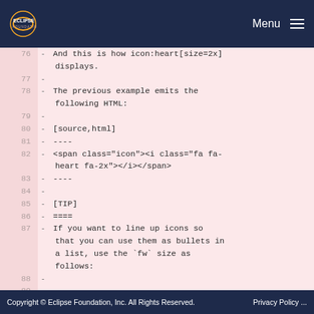Eclipse Foundation | Menu
76  - And this is how icon:heart[size=2x] displays.
77  -
78  - The previous example emits the following HTML:
79  -
80  - [source,html]
81  - ----
82  - <span class="icon"><i class="fa fa-heart fa-2x"></i></span>
83  - ----
84  -
85  - [TIP]
86  - ====
87  - If you want to line up icons so that you can use them as bullets in a list, use the `fw` size as follows:
88  -
89  - ----
Copyright © Eclipse Foundation, Inc. All Rights Reserved.    Privacy Policy ...